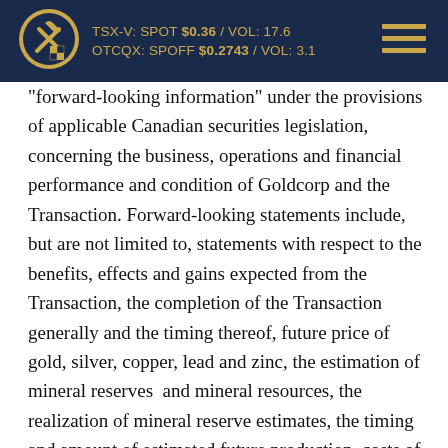TSX-V: SPOT $0.36 / VOL: 17.6  OTCQX: SPOFF $0.2743 / VOL: 3.1
"forward-looking information" under the provisions of applicable Canadian securities legislation, concerning the business, operations and financial performance and condition of Goldcorp and the Transaction. Forward-looking statements include, but are not limited to, statements with respect to the benefits, effects and gains expected from the Transaction, the completion of the Transaction generally and the timing thereof, future price of gold, silver, copper, lead and zinc, the estimation of mineral reserves and mineral resources, the realization of mineral reserve estimates, the timing and amount of estimated future production, costs of production, targeted cost reductions, capital expenditures, free cash flow, costs and timing of the